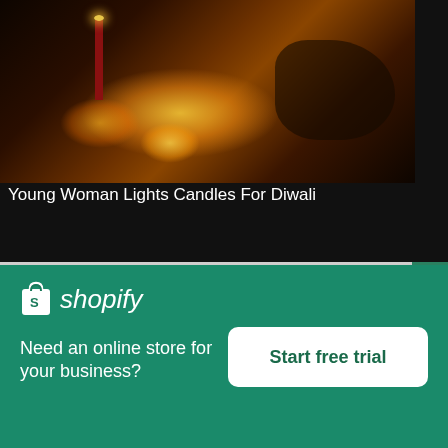[Figure (photo): Dark photo of a young woman lighting candles/diyas for Diwali, with warm orange/gold glowing lights visible on the ground]
Young Woman Lights Candles For Diwali
High resolution download ↓
[Figure (photo): Partial photo showing a bird (appears to be a crow or raven) against a light grey/white sky background]
[Figure (logo): Shopify logo with shopping bag icon and italic shopify text in white on green background]
Need an online store for your business?
Start free trial